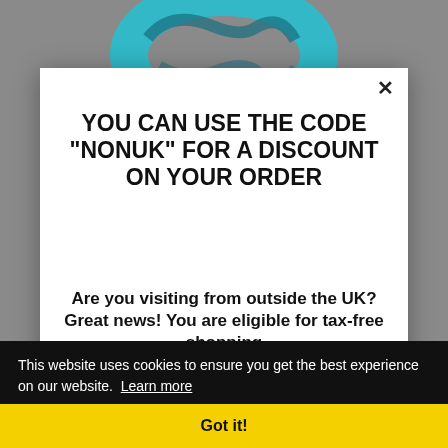[Figure (photo): Grey background with teal/blue circular carabiner or ring shape visible at top]
YOU CAN USE THE CODE "NONUK" FOR A DISCOUNT ON YOUR ORDER
Are you visiting from outside the UK? Great news! You are eligible for tax-free shopping
For more information regarding pricing and
This website uses cookies to ensure you get the best experience on our website. Learn more
Got it!